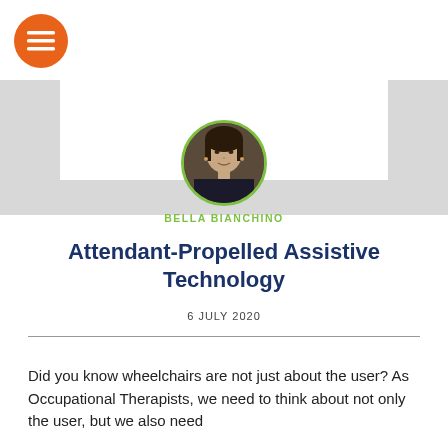[Figure (logo): Orange circular hamburger menu button with three horizontal white lines]
[Figure (photo): Circular profile photo of Bella Bianchino with green border, woman smiling in dark clothing]
BELLA BIANCHINO
Attendant-Propelled Assistive Technology
6 JULY 2020
Did you know wheelchairs are not just about the user? As Occupational Therapists, we need to think about not only the user, but we also need